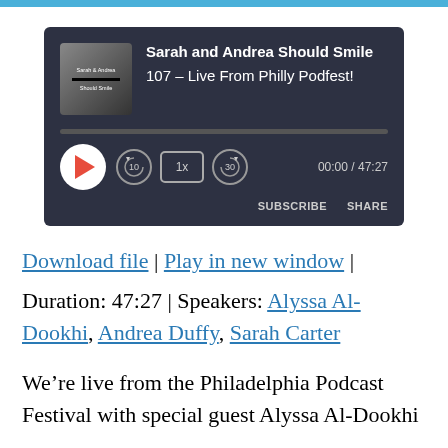[Figure (screenshot): Podcast audio player widget showing 'Sarah and Andrea Should Smile' podcast, episode '107 - Live From Philly Podfest!' with play button, progress bar, speed controls (10s back, 1x speed, 30s forward), time display 00:00 / 47:27, and SUBSCRIBE / SHARE buttons]
Download file | Play in new window |
Duration: 47:27 | Speakers: Alyssa Al-Dookhi, Andrea Duffy, Sarah Carter
We're live from the Philadelphia Podcast Festival with special guest Alyssa Al-Dookhi